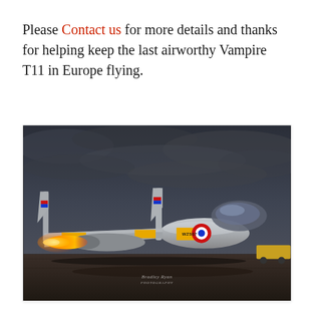Please Contact us for more details and thanks for helping keep the last airworthy Vampire T11 in Europe flying.
[Figure (photo): Dramatic low-angle photograph of a de Havilland Vampire T11 jet aircraft (serial WZ507) on the tarmac with jet engine flames visible beneath the fuselage pod. The twin-boom aircraft is painted silver with yellow markings and RAF roundels. Dark dramatic cloudy sky in background. Watermark signature visible at bottom center.]